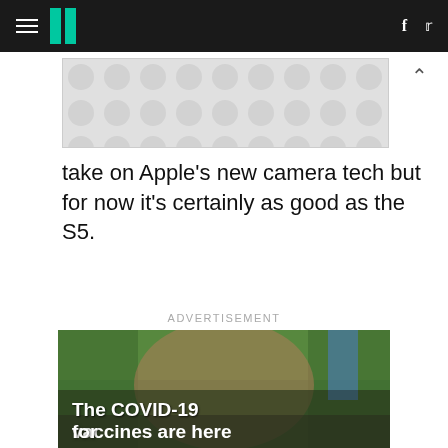HuffPost navigation with hamburger menu, logo, facebook and twitter icons
[Figure (other): Advertisement banner placeholder with gray polka-dot pattern]
take on Apple's new camera tech but for now it's certainly as good as the S5.
ADVERTISEMENT
[Figure (photo): A smiling mother holding a young child outdoors, with text overlay reading 'The COVID-19 vaccines are here for']